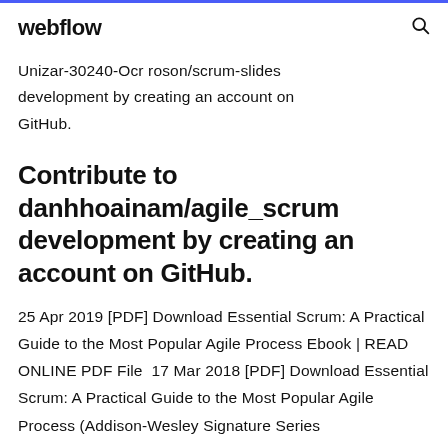webflow
Unizar-30240-Ocr roson/scrum-slides development by creating an account on GitHub.
Contribute to danhhoainam/agile_scrum development by creating an account on GitHub.
25 Apr 2019 [PDF] Download Essential Scrum: A Practical Guide to the Most Popular Agile Process Ebook | READ ONLINE PDF File  17 Mar 2018 [PDF] Download Essential Scrum: A Practical Guide to the Most Popular Agile Process (Addison-Wesley Signature Series